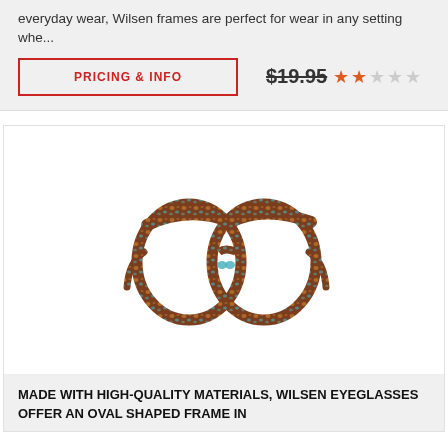everyday wear, Wilsen frames are perfect for wear in any setting whe...
PRICING & INFO   $19.95  ★★☆☆☆
[Figure (photo): Front-facing view of tortoiseshell multicolor oval eyeglass frames with teal/turquoise and brown patterned acetate, no lenses, shown on white background.]
MADE WITH HIGH-QUALITY MATERIALS, WILSEN EYEGLASSES OFFER AN OVAL SHAPED FRAME IN